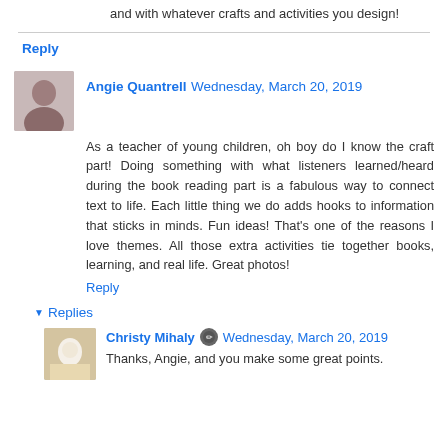and with whatever crafts and activities you design!
Reply
Angie Quantrell Wednesday, March 20, 2019
As a teacher of young children, oh boy do I know the craft part! Doing something with what listeners learned/heard during the book reading part is a fabulous way to connect text to life. Each little thing we do adds hooks to information that sticks in minds. Fun ideas! That's one of the reasons I love themes. All those extra activities tie together books, learning, and real life. Great photos!
Reply
Replies
Christy Mihaly Wednesday, March 20, 2019
Thanks, Angie, and you make some great points.